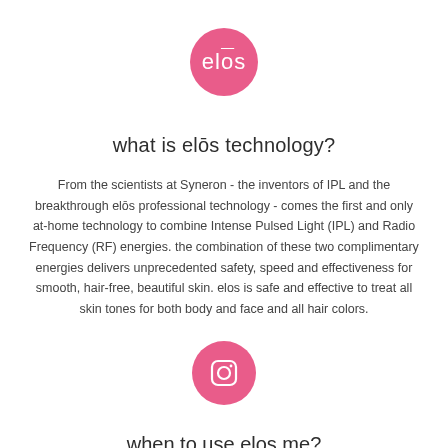[Figure (logo): Elos brand logo — white text 'elōs' on a pink circle]
what is elōs technology?
From the scientists at Syneron - the inventors of IPL and the breakthrough elōs professional technology - comes the first and only at-home technology to combine Intense Pulsed Light (IPL) and Radio Frequency (RF) energies. the combination of these two complimentary energies delivers unprecedented safety, speed and effectiveness for smooth, hair-free, beautiful skin. elos is safe and effective to treat all skin tones for both body and face and all hair colors.
[Figure (logo): Instagram icon — white camera/square icon on a pink circle]
when to use elos me?